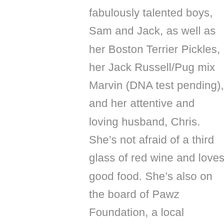fabulously talented boys, Sam and Jack, as well as her Boston Terrier Pickles, her Jack Russell/Pug mix Marvin (DNA test pending), and her attentive and loving husband, Chris. She's not afraid of a third glass of red wine and loves good food. She's also on the board of Pawz Foundation, a local charitable organization helping animal rescue groups, and has a passion for rescuing senior Boston Terriers.

Asked to describe Jennifer, those